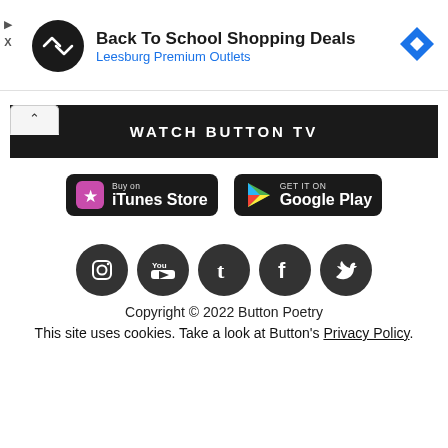[Figure (infographic): Advertisement banner: Back To School Shopping Deals at Leesburg Premium Outlets with logo and navigation arrow]
WATCH BUTTON TV
[Figure (infographic): Buy on iTunes Store button (black rounded rectangle)]
[Figure (infographic): GET IT ON Google Play button (black rounded rectangle)]
[Figure (infographic): Social media icons row: Instagram, YouTube, Tumblr, Facebook, Twitter]
Copyright © 2022 Button Poetry
This site uses cookies. Take a look at Button's Privacy Policy.